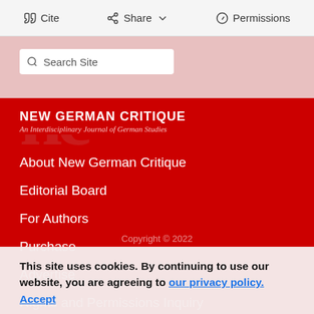Cite  Share  Permissions
Search Site
[Figure (logo): New German Critique journal logo with large letters and red background]
NEW GERMAN CRITIQUE
An Interdisciplinary Journal of German Studies
About New German Critique
Editorial Board
For Authors
Purchase
Advertise
Rights and Permissions Inquiry
Copyright © 2022
This site uses cookies. By continuing to use our website, you are agreeing to our privacy policy. Accept